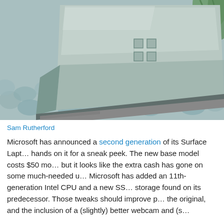[Figure (photo): Rear view of a Microsoft Surface Laptop showing the Windows logo, laptop slightly open, resting on a chunky knit blanket with a plant visible in the background.]
Sam Rutherford
Microsoft has announced a second generation of its Surface Laptop, and we got hands on it for a sneak peek. The new base model costs $50 more than before, but it looks like the extra cash has gone on some much-needed upgrades. Microsoft has added an 11th-generation Intel CPU and a new SS... storage found on its predecessor. Those tweaks should improve p... the original, and the inclusion of a (slightly) better webcam and (s...